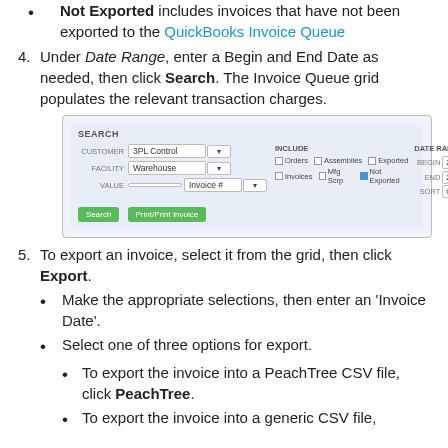Not Exported includes invoices that have not been exported to the QuickBooks Invoice Queue
4. Under Date Range, enter a Begin and End Date as needed, then click Search. The Invoice Queue grid populates the relevant transaction charges.
[Figure (screenshot): Screenshot of a Search panel with fields for Customer (3PL Control), Facility (Warehouse), Value (Invoice #), Include checkboxes (Orders, Assemblies, Exported, Invoices, Mfg Scrp, Not Exported), Date Range fields (Begin: 2020/02/01, End: 2020/03/04), Sort (Created), and buttons: Search, Print/Print Invoice.]
5. To export an invoice, select it from the grid, then click Export.
Make the appropriate selections, then enter an 'Invoice Date'.
Select one of three options for export.
To export the invoice into a PeachTree CSV file, click PeachTree.
To export the invoice into a generic CSV file,